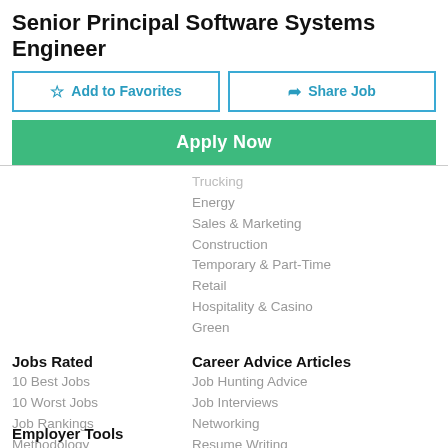Senior Principal Software Systems Engineer
Add to Favorites
Share Job
Apply Now
Trucking
Energy
Sales & Marketing
Construction
Temporary & Part-Time
Retail
Hospitality & Casino
Green
Jobs Rated
10 Best Jobs
10 Worst Jobs
Job Rankings
Methodology
Career Advice Articles
Job Hunting Advice
Job Interviews
Networking
Resume Writing
Career Guidance
Advice
Salary & Benefits
Employment Trends
Life At Work
Employer Tools